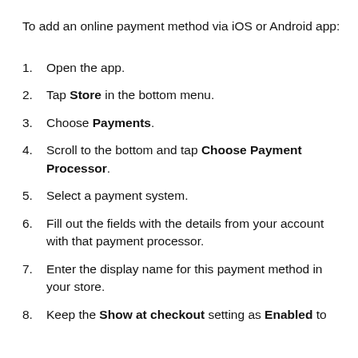To add an online payment method via iOS or Android app:
Open the app.
Tap Store in the bottom menu.
Choose Payments.
Scroll to the bottom and tap Choose Payment Processor.
Select a payment system.
Fill out the fields with the details from your account with that payment processor.
Enter the display name for this payment method in your store.
Keep the Show at checkout setting as Enabled to offer this payment method at checkout, or disable it.